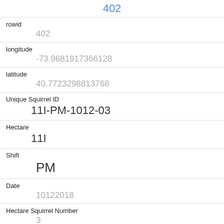402
rowid
402
longitude
-73.9681917366128
latitude
40.7723298813768
Unique Squirrel ID
11I-PM-1012-03
Hectare
11I
Shift
PM
Date
10122018
Hectare Squirrel Number
3
Age
Adult
Primary Fur Color